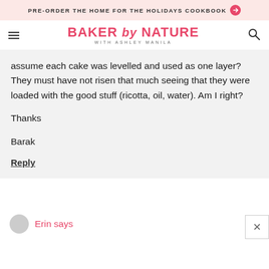PRE-ORDER THE HOME FOR THE HOLIDAYS COOKBOOK
BAKER by NATURE WITH ASHLEY MANILA
assume each cake was levelled and used as one layer? They must have not risen that much seeing that they were loaded with the good stuff (ricotta, oil, water). Am I right?
Thanks
Barak
Reply
Erin says